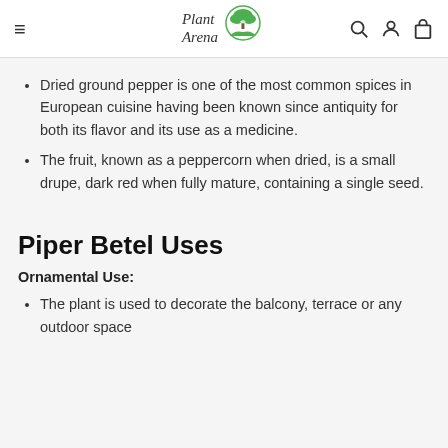Plant Arena (logo with navigation icons)
Dried ground pepper is one of the most common spices in European cuisine having been known since antiquity for both its flavor and its use as a medicine.
The fruit, known as a peppercorn when dried, is a small drupe, dark red when fully mature, containing a single seed.
Piper Betel Uses
Ornamental Use:
The plant is used to decorate the balcony, terrace or any outdoor space